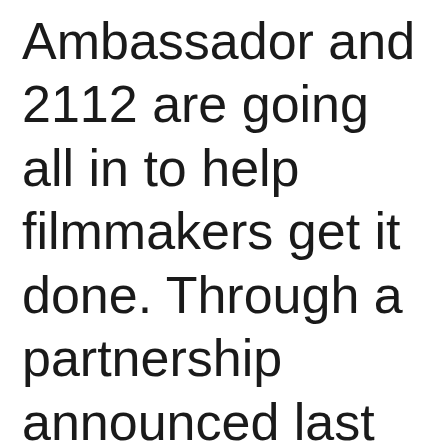Ambassador and 2112 are going all in to help filmmakers get it done. Through a partnership announced last week, the equipment rental shop and the film incubator are combining their